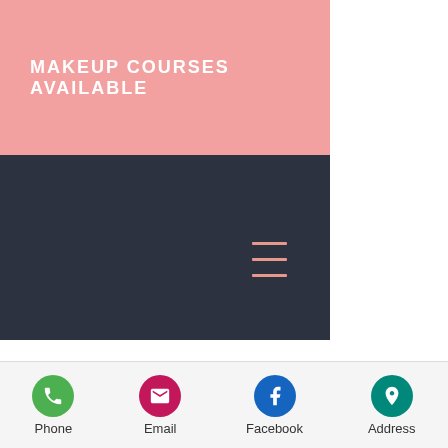MAKEUP COURSES AVAILABLE
[Figure (other): Dark navigation bar with hamburger menu icon in salmon/pink color]
Bitcasino.io Fortune Koi
BetChain Casino Titan Storm
Cloudbet Casino Chinese Treasures
22Bet Casino Dark Thirst
Sportsbet.io The Lab
mBit Casino Vikings Mega Reels
BitcoinCasino.us Bells on Fire Rombo
Betcoin.ag Casino Wild Diamond 7x
CryptoGames Magicious
mBTC free bet Old Fisherman
Betcoin.ag Casino Merry Fruits
Phone | Email | Facebook | Address